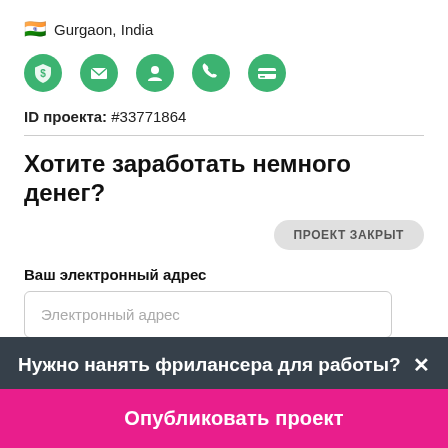🇮🇳 Gurgaon, India
[Figure (illustration): Five green icons in a row: shield with dollar sign, envelope, person silhouette, phone, credit card]
ID проекта: #33771864
Хотите заработать немного денег?
ПРОЕКТ ЗАКРЫТ
Ваш электронный адрес
Электронный адрес
Нужно нанять фрилансера для работы?
Опубликовать проект